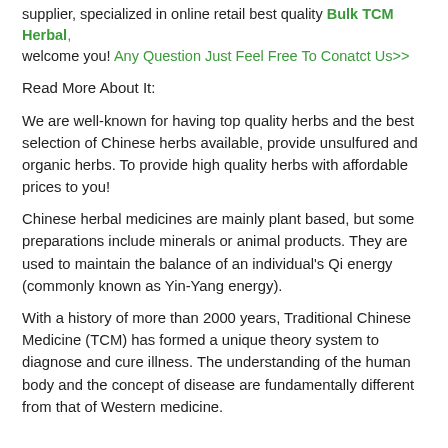supplier, specialized in online retail best quality Bulk TCM Herbal, welcome you! Any Question Just Feel Free To Conatct Us>>
Read More About It:
We are well-known for having top quality herbs and the best selection of Chinese herbs available, provide unsulfured and organic herbs. To provide high quality herbs with affordable prices to you!
Chinese herbal medicines are mainly plant based, but some preparations include minerals or animal products. They are used to maintain the balance of an individual's Qi energy (commonly known as Yin-Yang energy).
With a history of more than 2000 years, Traditional Chinese Medicine (TCM) has formed a unique theory system to diagnose and cure illness. The understanding of the human body and the concept of disease are fundamentally different from that of Western medicine.